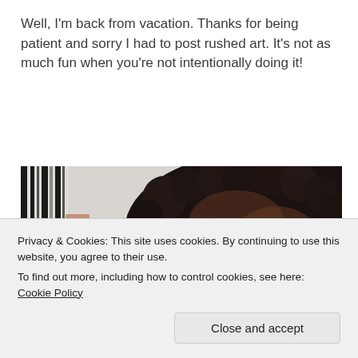Well, I'm back from vacation. Thanks for being patient and sorry I had to post rushed art. It's not as much fun when you're not intentionally doing it!
[Figure (photo): Partial photo of a person with large curly dark hair, visible from the top of the head down; a striped fabric visible on the left side. The image is cropped and partially obscured by a cookie consent banner.]
Privacy & Cookies: This site uses cookies. By continuing to use this website, you agree to their use.
To find out more, including how to control cookies, see here: Cookie Policy